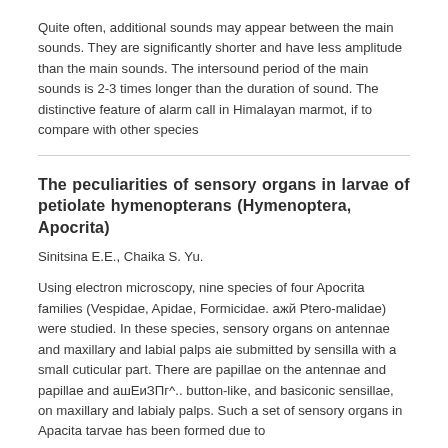Quite often, additional sounds may appear between the main sounds. They are significantly shorter and have less amplitude than the main sounds. The intersound period of the main sounds is 2-3 times longer than the duration of sound. The distinctive feature of alarm call in Himalayan marmot, if to compare with other species
The peculiarities of sensory organs in larvae of petiolate hymenopterans (Hymenoptera, Apocrita)
Sinitsina E.E., Chaika S. Yu.
Using electron microscopy, nine species of four Apocrita families (Vespidae, Apidae, Formicidae. ажй Ptero-malidae) were studied. In these species, sensory organs on antennae and maxillary and labial palps aie submitted by sensilla with a small cuticular part. There are papillae on the antennae and papillae and ашЕиЗПг^.. button-like, and basiconic sensillae, on maxillary and labialy palps. Such a set of sensory organs in Apacita tarvae has been formed due to